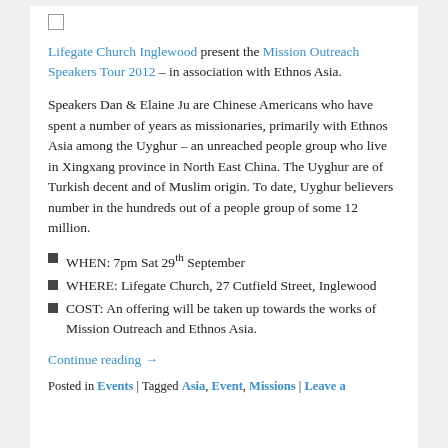Lifegate Church Inglewood present the Mission Outreach Speakers Tour 2012 – in association with Ethnos Asia.
Speakers Dan & Elaine Ju are Chinese Americans who have spent a number of years as missionaries, primarily with Ethnos Asia among the Uyghur – an unreached people group who live in Xingxang province in North East China. The Uyghur are of Turkish decent and of Muslim origin. To date, Uyghur believers number in the hundreds out of a people group of some 12 million.
WHEN: 7pm Sat 29th September
WHERE: Lifegate Church, 27 Cutfield Street, Inglewood
COST: An offering will be taken up towards the works of Mission Outreach and Ethnos Asia.
Continue reading →
Posted in Events | Tagged Asia, Event, Missions | Leave a